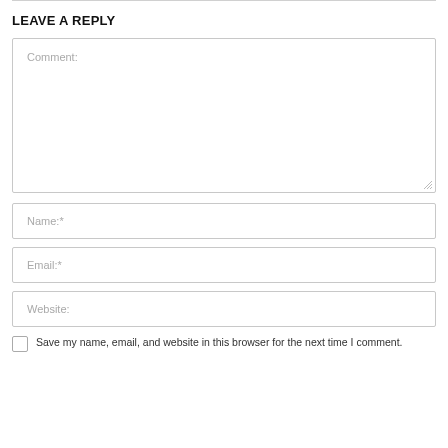LEAVE A REPLY
[Figure (screenshot): Comment text area input field with placeholder text 'Comment:']
[Figure (screenshot): Name input field with placeholder text 'Name:*']
[Figure (screenshot): Email input field with placeholder text 'Email:*']
[Figure (screenshot): Website input field with placeholder text 'Website:']
Save my name, email, and website in this browser for the next time I comment.